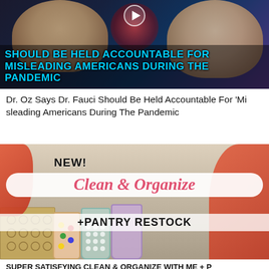[Figure (photo): Video thumbnail showing Dr. Oz and Dr. Fauci with text overlay reading 'SHOULD BE HELD ACCOUNTABLE FOR MISLEADING AMERICANS DURING THE PANDEMIC' in cyan/blue bold text on dark background with virus imagery and play button icon]
Dr. Oz Says Dr. Fauci Should Be Held Accountable For 'Misleading Americans During The Pandemic
[Figure (photo): Video thumbnail showing a woman in red/orange top organizing a kitchen pantry with jars of food, text overlay reads 'NEW! Clean & Organize +PANTRY RESTOCK']
SUPER SATISFYING CLEAN & ORGANIZE WITH ME + P...